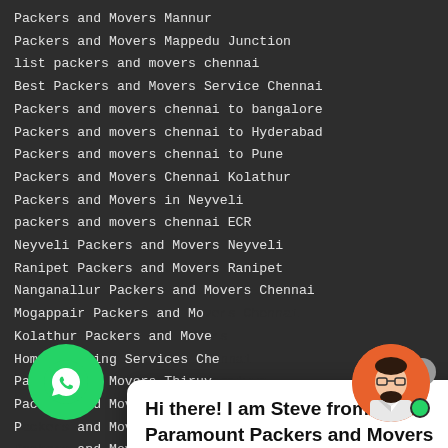Packers and Movers Mannur
Packers and Movers Mappedu Junction
list packers and movers chennai
Best Packers and Movers Service Chennai
Packers and movers chennai to bangalore
Packers and movers chennai to Hyderabad
Packers and movers chennai to Pune
Packers and Movers Chennai Kolathur
Packers and Movers in Neyveli
packers and movers chennai ECR
Neyveli Packers and Movers Neyveli
Ranipet Packers and Movers Ranipet
Nanganallur Packers and Movers Chennai
Mogappair Packers and Movers Chennai
Kolathur Packers and Movers
Home Shifting Services Chennai
Packers and Movers Thiruvanmiyur
Packers and Movers Tamilnadu
Packers and Movers Perungalathur Chennai
and Movers Padi
s and Movers Nelmbur
Packers and Movers Koyambedu
Hi there! I am Steve from Paramount Packers and Movers
[Figure (logo): WhatsApp green circular button icon]
[Figure (illustration): Chat avatar: cartoon man with beard and glasses on orange circle background with green online dot]